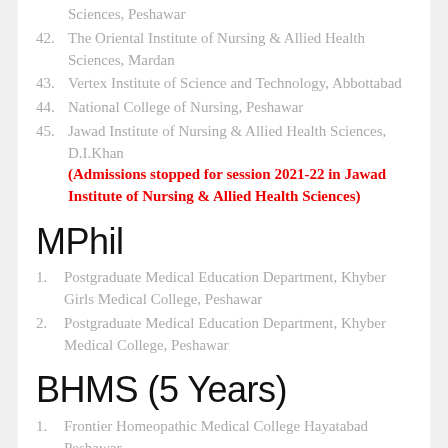Sciences, Peshawar
42. The Oriental Institute of Nursing & Allied Health Sciences, Mardan
43. Vertex Institute of Science and Technology, Abbottabad
44. National College of Nursing, Peshawar
45. Jawad Institute of Nursing & Allied Health Sciences, D.I.Khan (Admissions stopped for session 2021-22 in Jawad Institute of Nursing & Allied Health Sciences)
MPhil
1. Postgraduate Medical Education Department, Khyber Girls Medical College, Peshawar
2. Postgraduate Medical Education Department, Khyber Medical College, Peshawar
BHMS (5 Years)
1. Frontier Homeopathic Medical College Hayatabad Peshawar